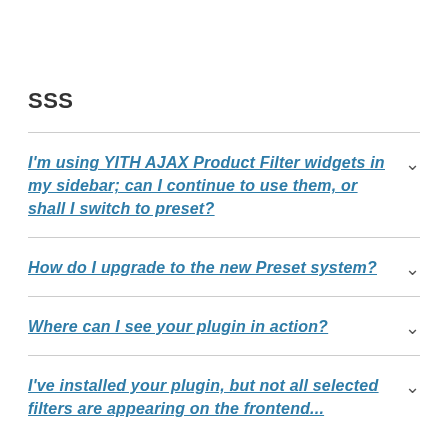SSS
I'm using YITH AJAX Product Filter widgets in my sidebar; can I continue to use them, or shall I switch to preset?
How do I upgrade to the new Preset system?
Where can I see your plugin in action?
I've installed your plugin, but not all selected filters are appearing on the frontend...